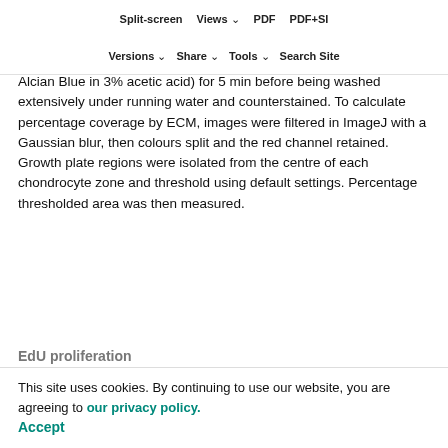Quantification of ECM quantification
Split-screen | Views | PDF | PDF+SI | Versions | Share | Tools | Search Site
Dewaxed sections were incubated in Alcian Blue (1% Alcian Blue in 3% acetic acid) for 5 min before being washed extensively under running water and counterstained. To calculate percentage coverage by ECM, images were filtered in ImageJ with a Gaussian blur, then colours split and the red channel retained. Growth plate regions were isolated from the centre of each chondrocyte zone and threshold using default settings. Percentage thresholded area was then measured.
EdU proliferation
Pregnant dams were injected with 30 mg/kg EdU in PBS 2 h before collection at E17.5. Pups were processed as described above for histological analysis. To assess
This site uses cookies. By continuing to use our website, you are agreeing to our privacy policy. Accept